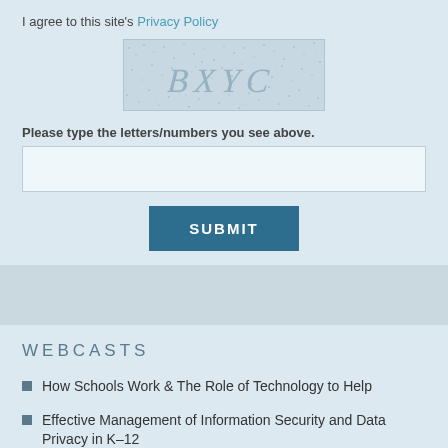I agree to this site's Privacy Policy
[Figure (other): CAPTCHA image showing the letters BXYC in a dotted/noisy background]
Please type the letters/numbers you see above.
[text input field]
SUBMIT
WEBCASTS
How Schools Work & The Role of Technology to Help
Effective Management of Information Security and Data Privacy in K–12